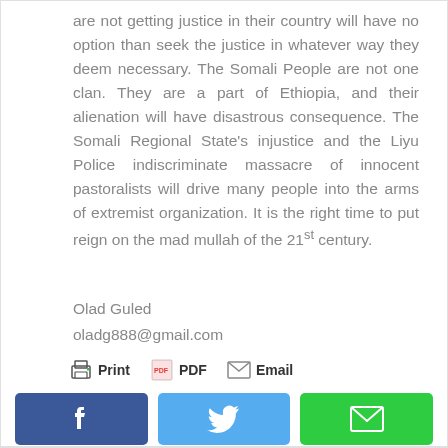are not getting justice in their country will have no option than seek the justice in whatever way they deem necessary. The Somali People are not one clan. They are a part of Ethiopia, and their alienation will have disastrous consequence. The Somali Regional State's injustice and the Liyu Police indiscriminate massacre of innocent pastoralists will drive many people into the arms of extremist organization. It is the right time to put reign on the mad mullah of the 21st century.
Olad Guled
oladg888@gmail.com
[Figure (infographic): Share icons: Print, PDF, Email buttons and social media buttons for Facebook (blue), Twitter (light blue), and Email (green)]